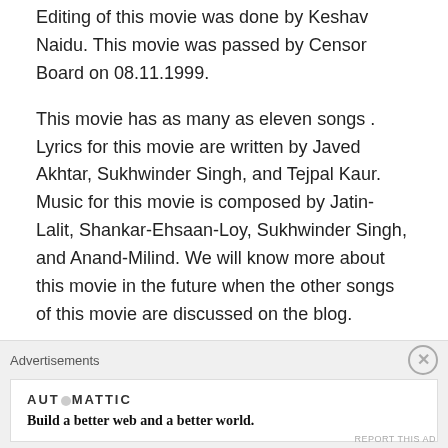Editing of this movie was done by Keshav Naidu. This movie was passed by Censor Board on 08.11.1999.
This movie has as many as eleven songs . Lyrics for this movie are written by Javed Akhtar, Sukhwinder Singh, and Tejpal Kaur. Music for this movie is composed by Jatin-Lalit, Shankar-Ehsaan-Loy, Sukhwinder Singh, and Anand-Milind. We will know more about this movie in the future when the other songs of this movie are discussed on the blog.
Lyricist for the today's song is Sukhwinder Singh who has also composed this song. The singing voices are Mahendra Kapoor, Shankar Mahadevan, Sukhwinder Singh, Mridula Dosai, Mohini Brahmabhatt and chorus. It
Advertisements
[Figure (other): Automattic advertisement banner with text 'Build a better web and a better world.' and close button]